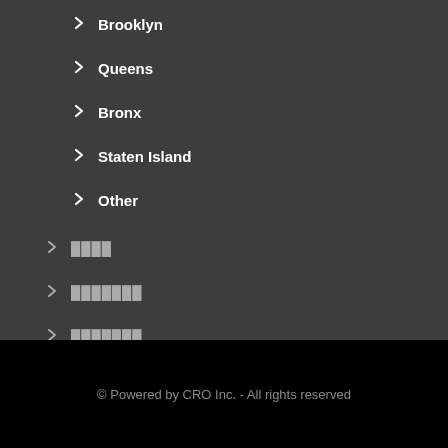Brooklyn
Queens
Bronx
Staten Island
Other
████
███████
███████
© Powered by CRO Inc. - All rights reserved